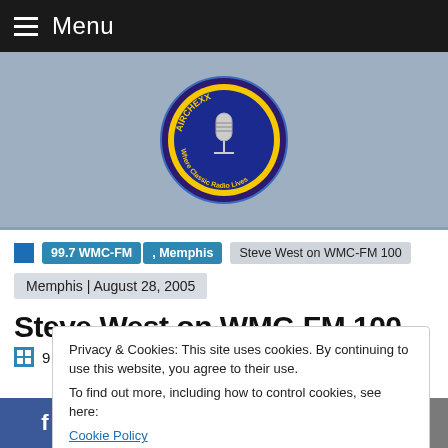Menu
[Figure (logo): Airchexx circular logo with microphone — 'Where Classic Radio Lives']
99.7 WMC-FM , Memphis   Steve West on WMC-FM 100
Memphis | August 28, 2005
Steve West on WMC-FM 100
Privacy & Cookies: This site uses cookies. By continuing to use this website, you agree to their use.
To find out more, including how to control cookies, see here:
Cookie Policy
Close and accept
f  t  p  in  mail